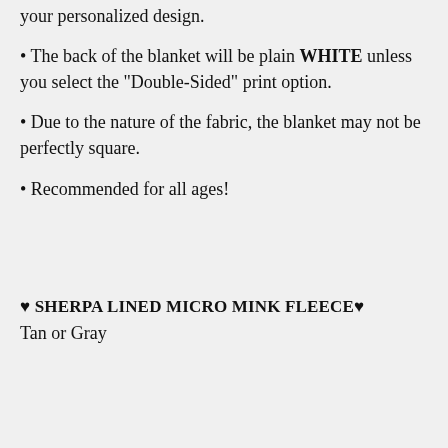your personalized design.
The back of the blanket will be plain WHITE unless you select the "Double-Sided" print option.
Due to the nature of the fabric, the blanket may not be perfectly square.
Recommended for all ages!
❤ SHERPA LINED MICRO MINK FLEECE❤
Tan or Gray